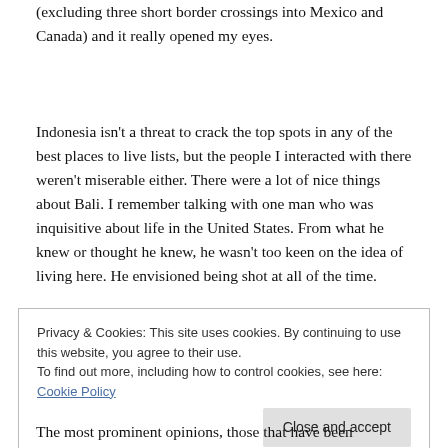(excluding three short border crossings into Mexico and Canada) and it really opened my eyes.
Indonesia isn't a threat to crack the top spots in any of the best places to live lists, but the people I interacted with there weren't miserable either. There were a lot of nice things about Bali. I remember talking with one man who was inquisitive about life in the United States. From what he knew or thought he knew, he wasn't too keen on the idea of living here. He envisioned being shot at all of the time.
Privacy & Cookies: This site uses cookies. By continuing to use this website, you agree to their use.
To find out more, including how to control cookies, see here: Cookie Policy
The most prominent opinions, those that have been